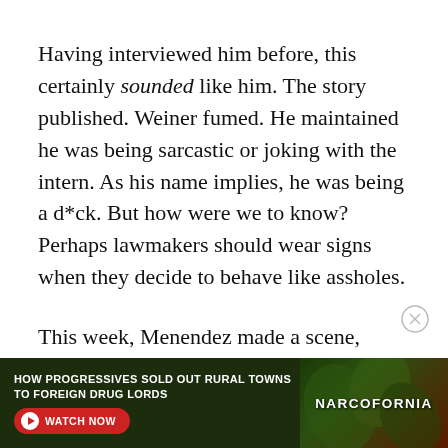Having interviewed him before, this certainly sounded like him. The story published. Weiner fumed. He maintained he was being sarcastic or joking with the intern. As his name implies, he was being a d*ck. But how were we to know? Perhaps lawmakers should wear signs when they decide to behave like assholes.
This week, Menendez made a scene, which made for fantastic audio and great journalism.
But maybe next time, he won't feel the need to invol... a question.
[Figure (other): Advertisement banner: 'HOW PROGRESSIVES SOLD OUT RURAL TOWNS TO FOREIGN DRUG LORDS' with a WATCH NOW button and NARCOFORNIA logo on a dark background with cannabis leaf imagery]